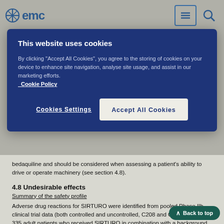[Figure (screenshot): EMC website navigation bar with logo, hamburger menu and search icon]
This website uses cookies
By clicking "Accept All Cookies", you agree to the storing of cookies on your device to enhance site navigation, analyse site usage, and assist in our marketing efforts. Cookie Policy
Cookies Settings | Accept All Cookies
bedaquiline and should be considered when assessing a patient's ability to drive or operate machinery (see section 4.8).
4.8 Undesirable effects
Summary of the safety profile
Adverse drug reactions for SIRTURO were identified from pooled Phase IIb clinical trial data (both controlled and uncontrolled, C208 and C209) containing 335 adult patients who received SIRTURO in combination with a background regimen of tuberculosis medicinal products. The basis of assessment of causality between the adverse drug reactions and SIRTURO was not restricted to these trials, but also on review of the